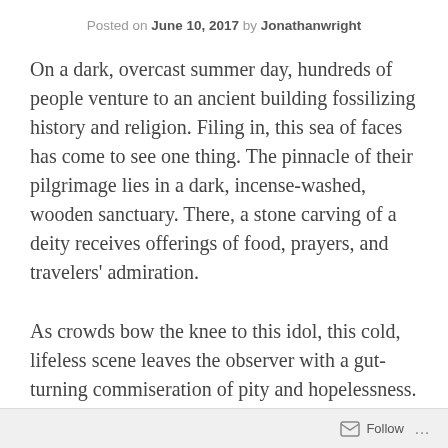Posted on June 10, 2017 by Jonathanwright
On a dark, overcast summer day, hundreds of people venture to an ancient building fossilizing history and religion. Filing in, this sea of faces has come to see one thing. The pinnacle of their pilgrimage lies in a dark, incense-washed, wooden sanctuary. There, a stone carving of a deity receives offerings of food, prayers, and travelers' admiration.
As crowds bow the knee to this idol, this cold, lifeless scene leaves the observer with a gut-turning commiseration of pity and hopelessness. But in some ways, this scene describes us all.
Psalm 115:2-8 reads.
Follow